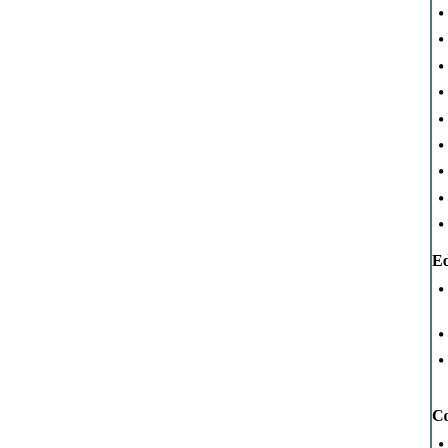Strong spontaneous skills to troubleshoo
Remarkable word processing skills
Brilliant with numbers
Sound computer skills
Ability to work to meet the deadlines an
Excellent in keeping accurate and well a
system
Capable of planning and implementing o
Profound ability of compiling informatio
Educational Qualification:
Completed a Masters in Business Admir with distinction scoring 72%
Diploma in banking administration from
Accomplished a Bachelor's Degree in th Chicago in the year 2002
Computer Knowledge
Completed a 2 months diploma in "Tally
Can operate on various Operating syster
Pro with different versions of Windows
Great skills with MS Word, MS Access,